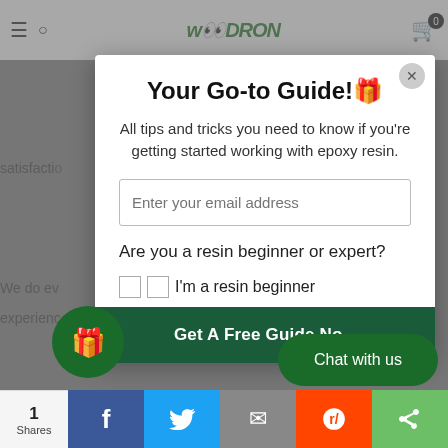[Figure (screenshot): Website popup modal for epoxy resin guide on a greyed-out ecommerce background. Modal contains title 'Your Go-to Guide!', subtitle text, email input, beginner/expert checkboxes, and CTA button. Social share bar at bottom with Facebook, Twitter, email, Reddit, and more buttons.]
Your Go-to Guide!🎁
All tips and tricks you need to know if you're getting started working with epoxy resin.
Are you a resin beginner or expert?
I'm a resin beginner
I'm a resin expert
Get A Free Guide Now
Chat with us
1
Shares